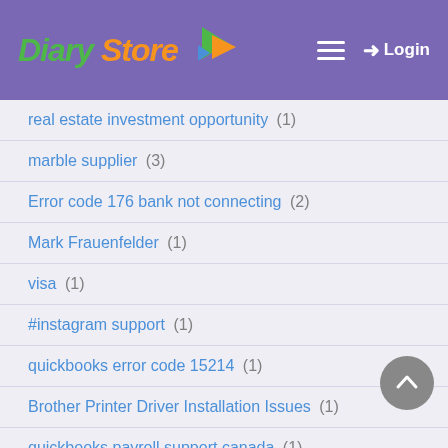Diary Store – Login
real estate investment opportunity (1)
marble supplier (3)
Error code 176 bank not connecting (2)
Mark Frauenfelder (1)
visa (1)
#instagram support (1)
quickbooks error code 15214 (1)
Brother Printer Driver Installation Issues (1)
quickbooks payroll support canada (1)
promotional premium gift items (2)
QuickBooks Online Page will Not Load (1)
QuickBooks Slow to Open Company File (1)